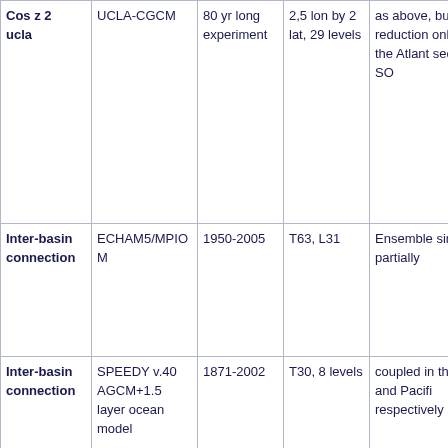| Cos z 2 ucla | UCLA-CGCM | 80 yr long experiment | 2,5 lon by 2 lat, 29 levels | as above, but reduction only over the Atlant sector of SO |
| Inter-basin connection | ECHAM5/MPIOM | 1950-2005 | T63, L31 | Ensemble simulation partially coupled in the Atlant and Pacifi respectively |
| Inter-basin connection | SPEEDY v.40 AGCM+1.5 layer ocean model | 1871-2002 | T30, 8 levels | coupled in the Atlant and Pacifi respectively |
| North Atlantic Salinity bias | KCM | 1) 2000 yr control; 2) 100 yr resorting | Atm: T42, 19 vertical levels Ocean: | Flux corrected experiment |